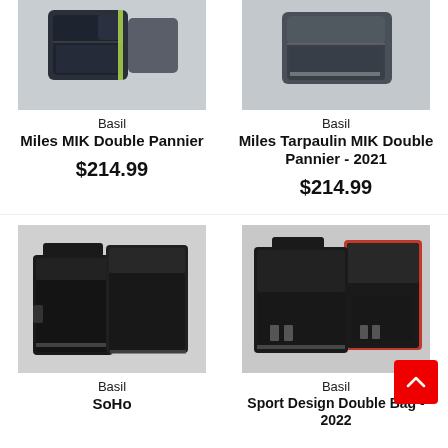[Figure (photo): Basil Miles MIK Double Pannier bag photo (dark blue/black with green accent, partial view at top)]
Basil
Miles MIK Double Pannier
$214.99
[Figure (photo): Basil Miles Tarpaulin MIK Double Pannier 2021 bag photo (grey, partial view at top)]
Basil
Miles Tarpaulin MIK Double Pannier - 2021
$214.99
[Figure (photo): Basil SoHo black double pannier bags photo]
Basil
SoHo
[Figure (photo): Basil Sport Design Double Bag 2022 black with red interior double pannier photo]
Basil
Sport Design Double Bag - 2022